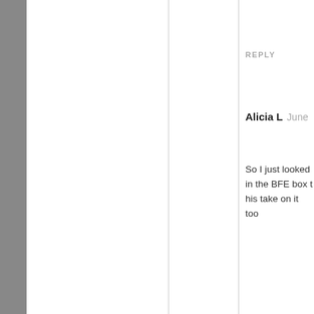REPLY
Alicia L  June
So I just looked in the BFE box t his take on it too
REPLY
Mikey  June
Alicia…The people in the engineer to s have gotten one for your LAG elevatio below your B your surveyo previous wo